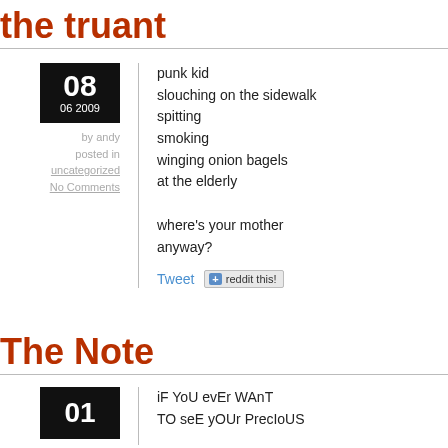the truant
punk kid
slouching on the sidewalk
spitting
smoking
winging onion bagels
at the elderly

where's your mother
anyway?
by andy
posted in
uncategorized
No Comments
The Note
iF YoU evEr WAnT
TO seE yOUr PrecIoUS